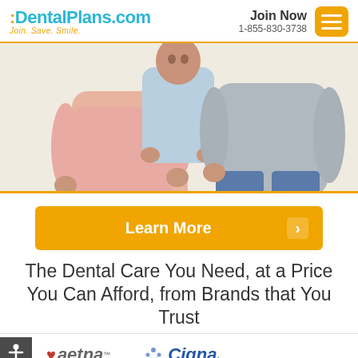[Figure (logo): DentalPlans.com logo with tagline 'Join. Save. Smile.']
Join Now
1-855-830-3738
[Figure (photo): A family photo showing two adults holding a young child/toddler between them, warm background]
[Figure (other): Learn More button with orange background and right arrow]
The Dental Care You Need, at a Price You Can Afford, from Brands that You Trust
[Figure (logo): Aetna logo with heart symbol]
[Figure (logo): Cigna logo with tree symbol]